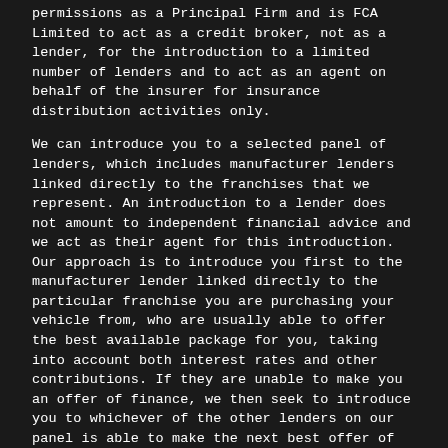permissions as a Principal Firm and is FCA Limited to act as a credit broker, not as a lender, for the introduction to a limited number of lenders and to act as an agent on behalf of the insurer for insurance distribution activities only.
We can introduce you to a selected panel of lenders, which includes manufacturer lenders linked directly to the franchises that we represent. An introduction to a lender does not amount to independent financial advice and we act as their agent for this introduction. Our approach is to introduce you first to the manufacturer lender linked directly to the particular franchise you are purchasing your vehicle from, who are usually able to offer the best available package for you, taking into account both interest rates and other contributions. If they are unable to make you an offer of finance, we then seek to introduce you to whichever of the other lenders on our panel is able to make the next best offer of finance for you. Our aim is to secure the best deal you are eligible for from our panel of lenders. Lenders may pay a fixed commission to us for introducing you to them, calculated by reference to the vehicle model or amount you borrow. Different lenders may pay different commissions for such introductions, and manufacturer lenders linked directly to the franchises that we represent may also provide preferential rates to us for the funding of our vehicle stock and also provide financial support for our training and marketing. But any such amounts they and other lenders pay us will not affect the amounts you pay under your finance agreement, all of which are set by the lender concerned. If you ask us what the amount of commission is